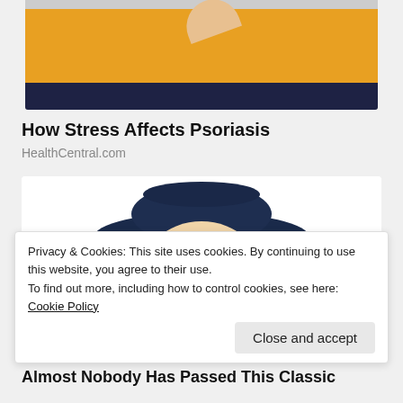[Figure (photo): Partial photo of a person in a yellow/orange sweater, top portion cropped]
How Stress Affects Psoriasis
HealthCentral.com
[Figure (illustration): Quaker Oats man mascot illustration — smiling elderly man with white curly hair wearing a dark navy wide-brim hat, on white background]
Privacy & Cookies: This site uses cookies. By continuing to use this website, you agree to their use.
To find out more, including how to control cookies, see here: Cookie Policy
Close and accept
Almost Nobody Has Passed This Classic